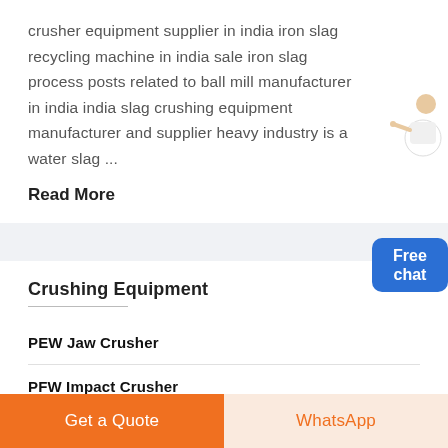crusher equipment supplier in india iron slag recycling machine in india sale iron slag process posts related to ball mill manufacturer in india india slag crushing equipment manufacturer and supplier heavy industry is a water slag ...
Read More
Crushing Equipment
PEW Jaw Crusher
PFW Impact Crusher
Get a Quote
WhatsApp